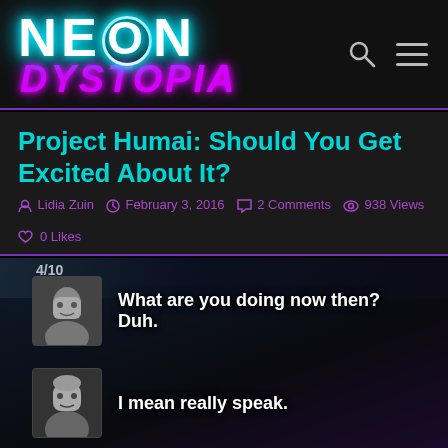NEON DYSTOPIA
Project Humai: Should You Get Excited About It?
Lidia Zuin  February 3, 2016  2 Comments  938 Views  0 Likes
[Figure (screenshot): Screenshot from Project Humai showing a chat-like interface with three avatar photos and dialogue lines: 'What are you doing now then? Duh.', 'I mean really speak.', 'We can speak.|']